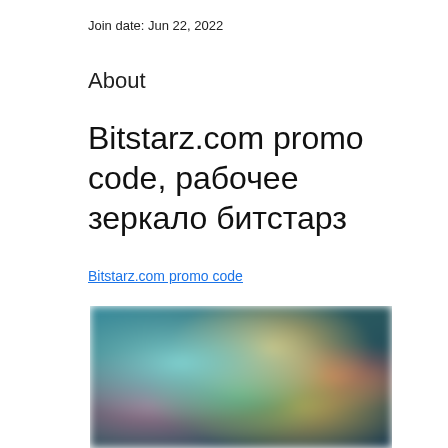Join date: Jun 22, 2022
About
Bitstarz.com promo code, рабочее зеркало битстарз
Bitstarz.com promo code
[Figure (photo): Blurred screenshot of a gaming or casino website showing colorful animated characters and game thumbnails]